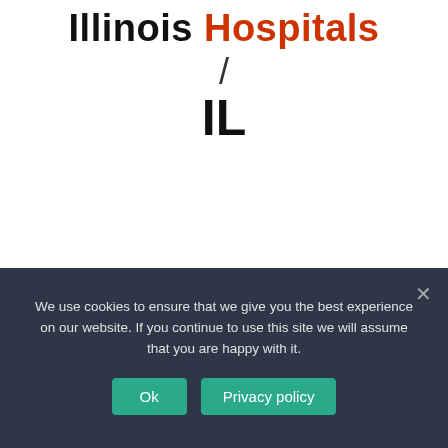Illinois Hospitals / IL
We use cookies to ensure that we give you the best experience on our website. If you continue to use this site we will assume that you are happy with it.